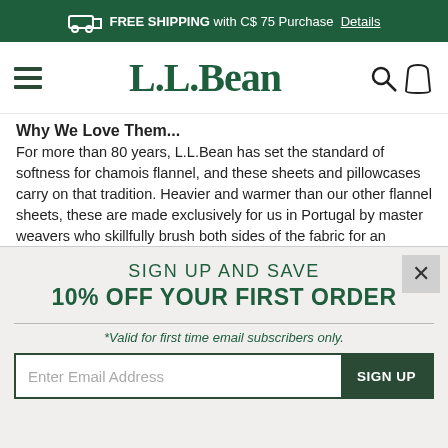FREE SHIPPING with C$ 75 Purchase Details
[Figure (logo): L.L.Bean navigation bar with hamburger menu, L.L.Bean logo, search icon, and bag icon]
Why We Love Them...
For more than 80 years, L.L.Bean has set the standard of softness for chamois flannel, and these sheets and pillowcases carry on that tradition. Heavier and warmer than our other flannel sheets, these are made exclusively for us in Portugal by master weavers who skillfully brush both sides of the fabric for an unbeatably plush feel that gets better with every washing.
Fabric & Care
SIGN UP AND SAVE
10% OFF YOUR FIRST ORDER
*Valid for first time email subscribers only.